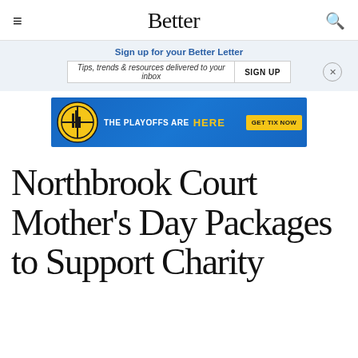Better
Sign up for your Better Letter
Tips, trends & resources delivered to your inbox   SIGN UP
[Figure (infographic): NBA Playoffs advertisement banner. Blue background with a basketball/city logo, text: THE PLAYOFFS ARE HERE, GET TIX NOW button in yellow.]
Northbrook Court Mother's Day Packages to Support Charity